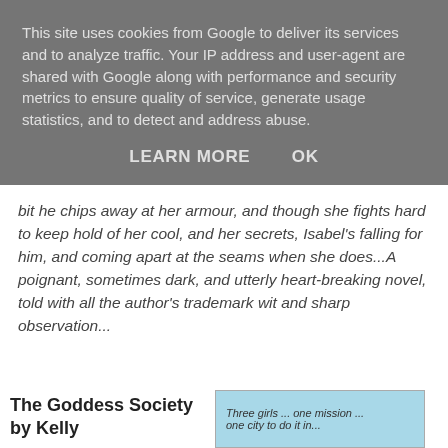This site uses cookies from Google to deliver its services and to analyze traffic. Your IP address and user-agent are shared with Google along with performance and security metrics to ensure quality of service, generate usage statistics, and to detect and address abuse.
LEARN MORE    OK
bit he chips away at her armour, and though she fights hard to keep hold of her cool, and her secrets, Isabel's falling for him, and coming apart at the seams when she does...A poignant, sometimes dark, and utterly heart-breaking novel, told with all the author's trademark wit and sharp observation...
The Goddess Society by Kelly
[Figure (illustration): Book cover with light blue background showing text: 'Three girls ... one mission ... one city to do it in...' with a partial image of what appears to be a character in the lower right corner]